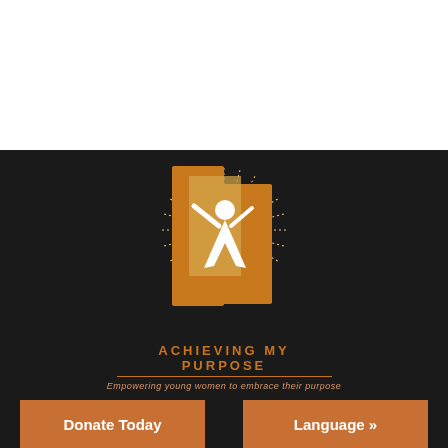[Figure (logo): Achieving My Purpose logo: stylized woman figure with arms raised inside orange rectangular blocks with sunburst rays, white figure on orange background]
Achieving My Purpose
Empowering young women to embrace their purpose
Donate Today
Language »